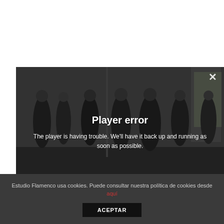[Figure (screenshot): Video player showing people in a dance studio with a dark overlay. Displays a 'Player error' message with close button.]
Player error
The player is having trouble. We'll have it back up and running as soon as possible.
Estudio Flamenco usa cookies. Puede consultar nuestra política de cookies desde aquí
ACEPTAR